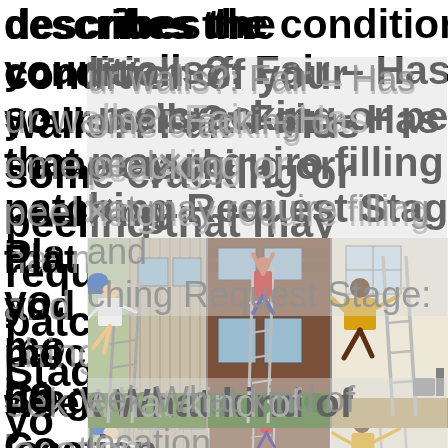describes the condition of your walls?: Fair - Has some cracking or peeling that may require filling and patching Request Stage: Placed your mo ho Co week What kind of location is this?: Home/Residence
[Figure (photo): Three photos side by side showing people falling off ladders near houses/buildings: left photo shows person falling from ladder against beige siding, middle photo shows person hanging from upper floor window of brick house with ladder, right photo shows person falling from ladder inside a bright interior room.]